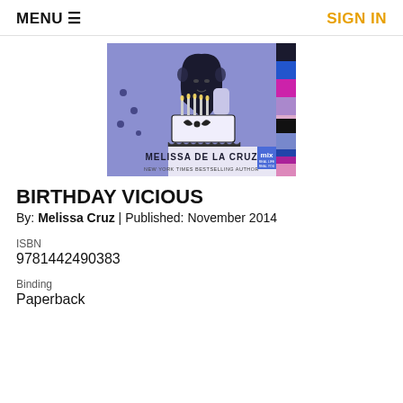MENU ≡  SIGN IN
[Figure (illustration): Book cover of 'Birthday Vicious' by Melissa de la Cruz. Illustration features a stylized girl with a birthday cake, in purple/blue tones with color swatches on the right side. Author name 'MELISSA DE LA CRUZ' and 'NEW YORK TIMES BESTSELLING AUTHOR' printed at bottom.]
BIRTHDAY VICIOUS
By: Melissa Cruz | Published: November 2014
ISBN
9781442490383
Binding
Paperback